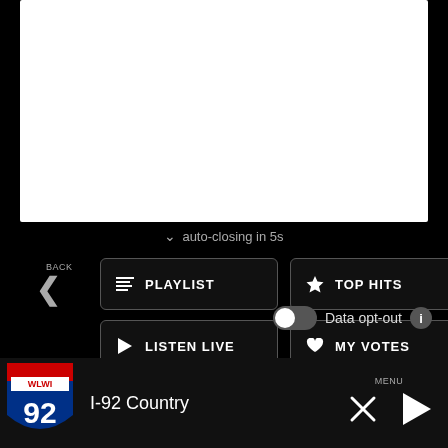[Figure (screenshot): White blank panel at top of mobile app screen]
auto-closing in 5s
BACK
COLLAPSE
PLAYLIST
TOP HITS
LISTEN LIVE
MY VOTES
CONTROLS
Data opt-out
I-92 Country
[Figure (logo): I-92 WLWI Country radio station interstate highway shield logo, red white blue]
I-92 Country
MENU